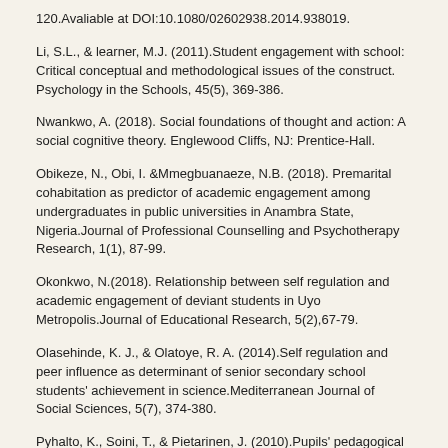120.Avaliable at DOI:10.1080/02602938.2014.938019.
Li, S.L., & learner, M.J. (2011).Student engagement with school: Critical conceptual and methodological issues of the construct. Psychology in the Schools, 45(5), 369-386.
Nwankwo, A. (2018). Social foundations of thought and action: A social cognitive theory. Englewood Cliffs, NJ: Prentice-Hall.
Obikeze, N., Obi, I. &Mmegbuanaeze, N.B. (2018). Premarital cohabitation as predictor of academic engagement among undergraduates in public universities in Anambra State, Nigeria.Journal of Professional Counselling and Psychotherapy Research, 1(1), 87-99.
Okonkwo, N.(2018). Relationship between self regulation and academic engagement of deviant students in Uyo Metropolis.Journal of Educational Research, 5(2),67-79.
Olasehinde, K. J., & Olatoye, R. A. (2014).Self regulation and peer influence as determinant of senior secondary school students' achievement in science.Mediterranean Journal of Social Sciences, 5(7), 374-380.
Pyhalto, K., Soini, T., & Pietarinen, J. (2010).Pupils' pedagogical well-being in comprehensive school-significant positive